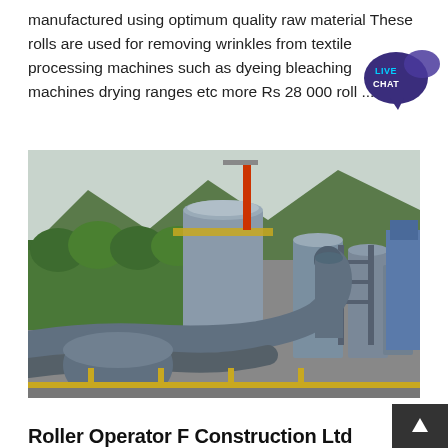manufactured using optimum quality raw material These rolls are used for removing wrinkles from textile processing machines such as dyeing bleaching machines drying ranges etc more Rs 28 000 roll ...
[Figure (photo): Aerial view of an industrial facility with large cylindrical silos, pipes, and yellow railing, surrounded by green forested hills in the background.]
Roller Operator F Construction Ltd